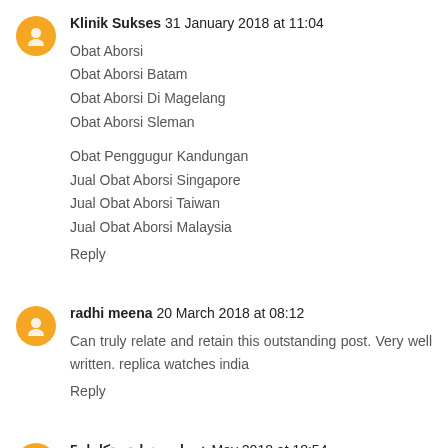Klinik Sukses 31 January 2018 at 11:04
Obat Aborsi
Obat Aborsi Batam
Obat Aborsi Di Magelang
Obat Aborsi Sleman
Obat Penggugur Kandungan
Jual Obat Aborsi Singapore
Jual Obat Aborsi Taiwan
Jual Obat Aborsi Malaysia
Reply
radhi meena 20 March 2018 at 08:12
Can truly relate and retain this outstanding post. Very well written. replica watches india
Reply
خدمات منزلية متكامله5 May 2018 at 18:54